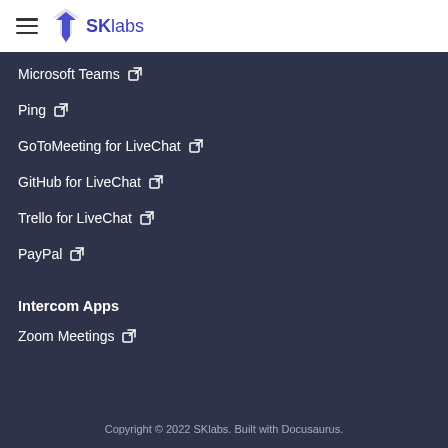SKlabs
Microsoft Teams ↗
Ping ↗
GoToMeeting for LiveChat ↗
GitHub for LiveChat ↗
Trello for LiveChat ↗
PayPal ↗
Intercom Apps
Zoom Meetings ↗
Copyright © 2022 SKlabs. Built with Docusaurus.